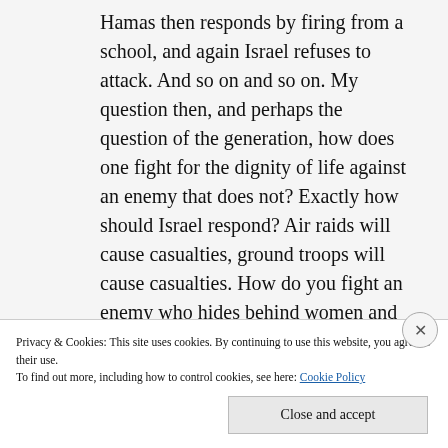Hamas then responds by firing from a school, and again Israel refuses to attack. And so on and so on. My question then, and perhaps the question of the generation, how does one fight for the dignity of life against an enemy that does not? Exactly how should Israel respond? Air raids will cause casualties, ground troops will cause casualties. How do you fight an enemy who hides behind women and children?
Privacy & Cookies: This site uses cookies. By continuing to use this website, you agree to their use. To find out more, including how to control cookies, see here: Cookie Policy
Close and accept